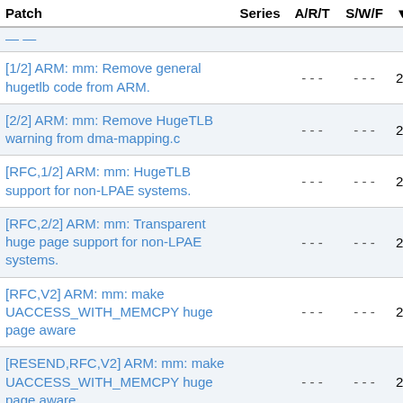| Patch | Series | A/R/T | S/W/F | Date |
| --- | --- | --- | --- | --- |
| [1/2] ARM: mm: Remove general hugetlb code from ARM. |  | - - - | - - - | 2013-07- |
| [2/2] ARM: mm: Remove HugeTLB warning from dma-mapping.c |  | - - - | - - - | 2013-07- |
| [RFC,1/2] ARM: mm: HugeTLB support for non-LPAE systems. |  | - - - | - - - | 2013-07- |
| [RFC,2/2] ARM: mm: Transparent huge page support for non-LPAE systems. |  | - - - | - - - | 2013-07- |
| [RFC,V2] ARM: mm: make UACCESS_WITH_MEMCPY huge page aware |  | - - - | - - - | 2013-09- |
| [RESEND,RFC,V2] ARM: mm: make UACCESS_WITH_MEMCPY huge page aware |  | - - - | - - - | 2013-09- |
| ARM: mm: make UACCESS_WITH_MEMCPY |  | - - - | - - - | 2013-09- |